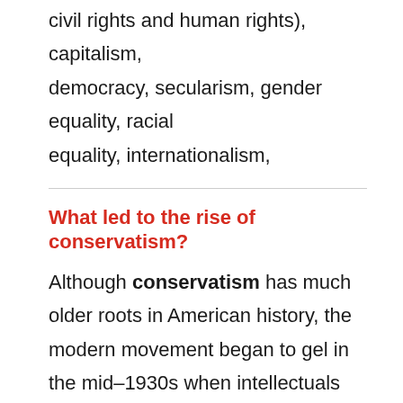civil rights and human rights), capitalism, democracy, secularism, gender equality, racial equality, internationalism,
What led to the rise of conservatism?
Although conservatism has much older roots in American history, the modern movement began to gel in the mid–1930s when intellectuals and politicians collaborated with businessmen to oppose the liberalism of the New Deal led by President Franklin D.
What does liberalism mean?